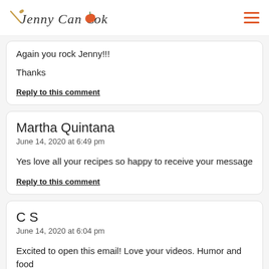Jenny Can Cook
Again you rock Jenny!!!

Thanks
Reply to this comment
Martha Quintana
June 14, 2020 at 6:49 pm
Yes love all your recipes so happy to receive your message
Reply to this comment
C S
June 14, 2020 at 6:04 pm
Excited to open this email! Love your videos. Humor and food